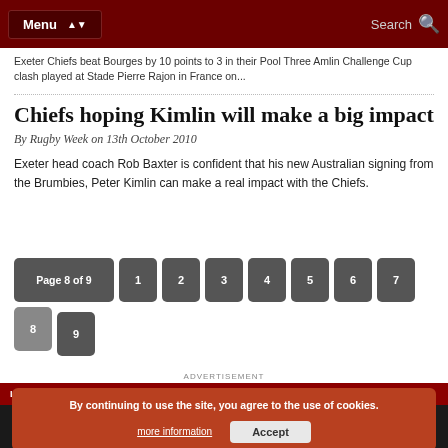Menu | Search
Exeter Chiefs beat Bourges by 10 points to 3 in their Pool Three Amlin Challenge Cup clash played at Stade Pierre Rajon in France on...
Chiefs hoping Kimlin will make a big impact
By Rugby Week on 13th October 2010
Exeter head coach Rob Baxter is confident that his new Australian signing from the Brumbies, Peter Kimlin can make a real impact with the Chiefs.
Page 8 of 9 | 1 2 3 4 5 6 7 8 9
ADVERTISEMENT
LATEST RUGBY VIDEO
By continuing to use the site, you agree to the use of cookies. more information | Accept